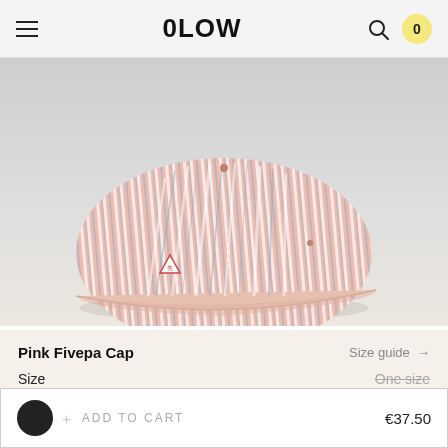OLOW
[Figure (photo): Close-up photo of a pink and white striped five-panel cap with blue stripe accents and a small triangular logo patch, photographed against a light gray background on a light surface.]
Pink Fivepa Cap
Size guide →
Size
One size
+ ADD TO CART
€37.50